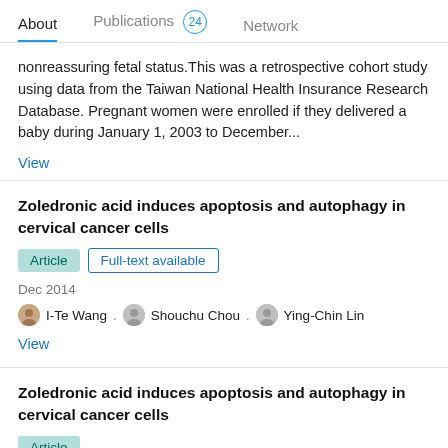About   Publications 24   Network
nonreassuring fetal status.This was a retrospective cohort study using data from the Taiwan National Health Insurance Research Database. Pregnant women were enrolled if they delivered a baby during January 1, 2003 to December...
View
Zoledronic acid induces apoptosis and autophagy in cervical cancer cells
Article   Full-text available
Dec 2014
I-Te Wang . Shouchu Chou . Ying-Chin Lin
View
Zoledronic acid induces apoptosis and autophagy in cervical cancer cells
Article